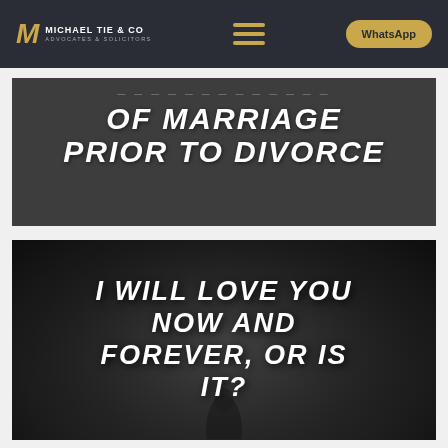Michael Tie & Co — Advocates & Solicitors | WhatsApp
OF MARRIAGE PRIOR TO DIVORCE
[Figure (illustration): Dark background card with white bold italic uppercase text reading: I WILL LOVE YOU NOW AND FOREVER, OR IS IT?]